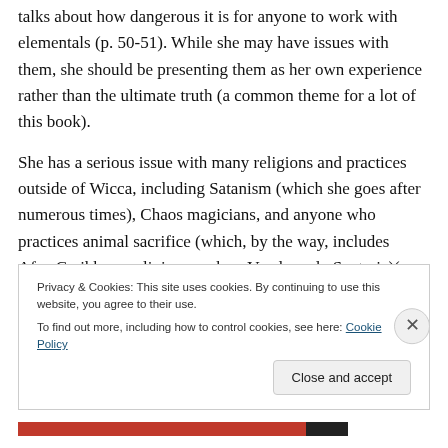talks about how dangerous it is for anyone to work with elementals (p. 50-51). While she may have issues with them, she should be presenting them as her own experience rather than the ultimate truth (a common theme for a lot of this book).
She has a serious issue with many religions and practices outside of Wicca, including Satanism (which she goes after numerous times), Chaos magicians, and anyone who practices animal sacrifice (which, by the way, includes Afro-Caribbean religions such as Voodoo adn Santeria)(p.
Privacy & Cookies: This site uses cookies. By continuing to use this website, you agree to their use.
To find out more, including how to control cookies, see here: Cookie Policy